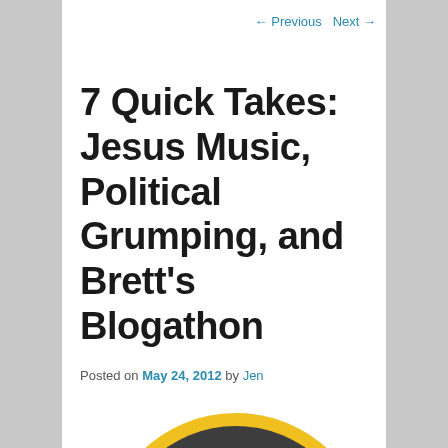← Previous   Next →
7 Quick Takes: Jesus Music, Political Grumping, and Brett's Blogathon
Posted on May 24, 2012 by Jen
[Figure (logo): Dark circular badge/logo with a yellow ring border, showing a keyboard icon and stylized chess-piece-like figures, with an X pattern overlaid. Partial view cut off at bottom.]